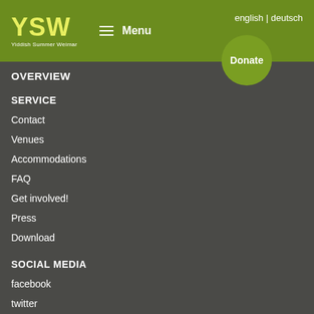YSW Yiddish Summer Weimar | Menu | english | deutsch | Donate
OVERVIEW
SERVICE
Contact
Venues
Accommodations
FAQ
Get involved!
Press
Download
SOCIAL MEDIA
facebook
twitter
YouTube
Other Music Academy
OMAcafé